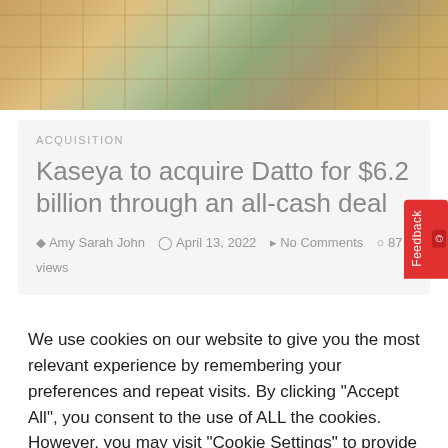[Figure (photo): Wooden mannequin figures holding puzzle pieces together against a colorful wooden background]
ACQUISITION
Kaseya to acquire Datto for $6.2 billion through an all-cash deal
Amy Sarah John  April 13, 2022  No Comments  87 views
We use cookies on our website to give you the most relevant experience by remembering your preferences and repeat visits. By clicking "Accept All", you consent to the use of ALL the cookies. However, you may visit "Cookie Settings" to provide a controlled consent.